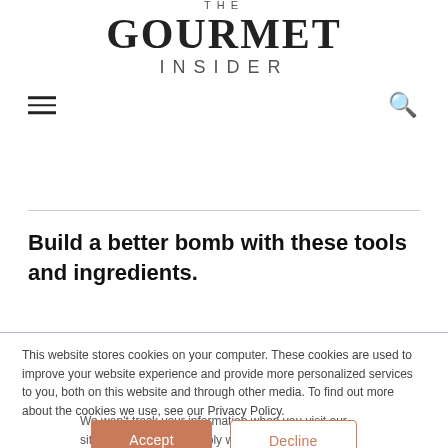THE GOURMET INSIDER
Build a better bomb with these tools and ingredients.
This website stores cookies on your computer. These cookies are used to improve your website experience and provide more personalized services to you, both on this website and through other media. To find out more about the cookies we use, see our Privacy Policy.
We won't track your information when you visit our site. But in order to comply with your preferences, we'll have to use just one tiny cookie so that you're not asked to make this choice again.